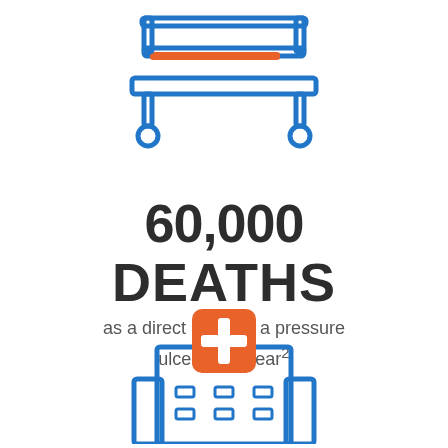[Figure (illustration): Hospital bed icon drawn in blue outline style with orange accent mattress/pillow line, on wheels]
60,000 DEATHS
as a direct result of a pressure ulcer each year²
[Figure (illustration): Hospital building icon drawn in blue outline style with orange cross/plus sign on top]